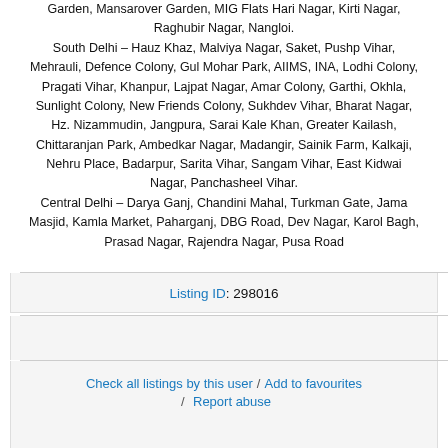Garden, Mansarover Garden, MIG Flats Hari Nagar, Kirti Nagar, Raghubir Nagar, Nangloi. South Delhi – Hauz Khaz, Malviya Nagar, Saket, Pushp Vihar, Mehrauli, Defence Colony, Gul Mohar Park, AIIMS, INA, Lodhi Colony, Pragati Vihar, Khanpur, Lajpat Nagar, Amar Colony, Garthi, Okhla, Sunlight Colony, New Friends Colony, Sukhdev Vihar, Bharat Nagar, Hz. Nizammudin, Jangpura, Sarai Kale Khan, Greater Kailash, Chittaranjan Park, Ambedkar Nagar, Madangir, Sainik Farm, Kalkaji, Nehru Place, Badarpur, Sarita Vihar, Sangam Vihar, East Kidwai Nagar, Panchasheel Vihar. Central Delhi – Darya Ganj, Chandini Mahal, Turkman Gate, Jama Masjid, Kamla Market, Paharganj, DBG Road, Dev Nagar, Karol Bagh, Prasad Nagar, Rajendra Nagar, Pusa Road
Listing ID: 298016
Check all listings by this user / Add to favourites / Report abuse